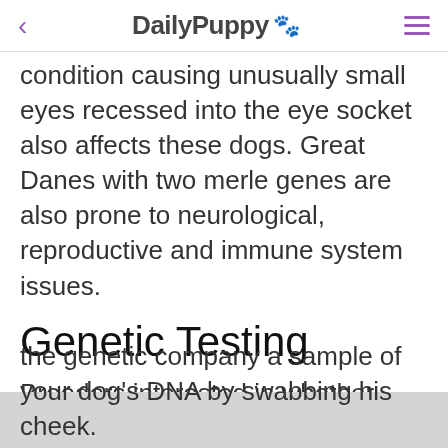DailPuppy 🐾
condition causing unusually small eyes recessed into the eye socket also affects these dogs. Great Danes with two merle genes are also prone to neurological, reproductive and immune system issues.
Genetic Testing
Breeders interested in whether their Great Dane carries the harlequin gene, even if the dog does not have the color pattern, can order genetic tests for coat color. Send the genetic company a sample of your dog's DNA by swabbing his cheek.